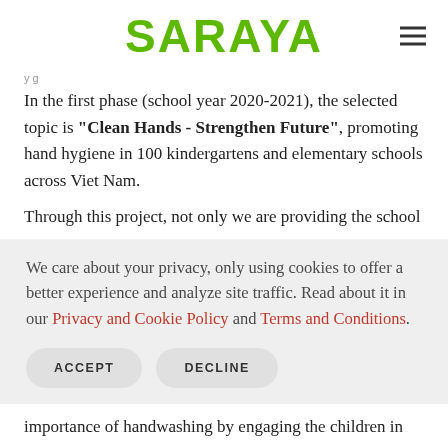SARAYA
In the first phase (school year 2020-2021), the selected topic is "Clean Hands - Strengthen Future", promoting hand hygiene in 100 kindergartens and elementary schools across Viet Nam.
Through this project, not only we are providing the school
We care about your privacy, only using cookies to offer a better experience and analyze site traffic. Read about it in our Privacy and Cookie Policy and Terms and Conditions.
importance of handwashing by engaging the children in